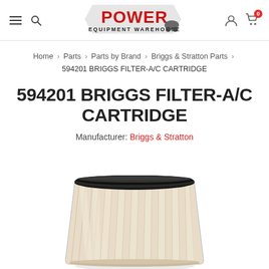Power Equipment Warehouse — navigation header with logo, menu, search, account, and cart icons
Home › Parts › Parts by Brand › Briggs & Stratton Parts › 594201 BRIGGS FILTER-A/C CARTRIDGE
594201 BRIGGS FILTER-A/C CARTRIDGE
Manufacturer: Briggs & Stratton
[Figure (photo): Photo of a cylindrical air filter cartridge with black rubber top seal and pleated paper filter element, cream/tan color, wider at top and narrowing slightly toward bottom]